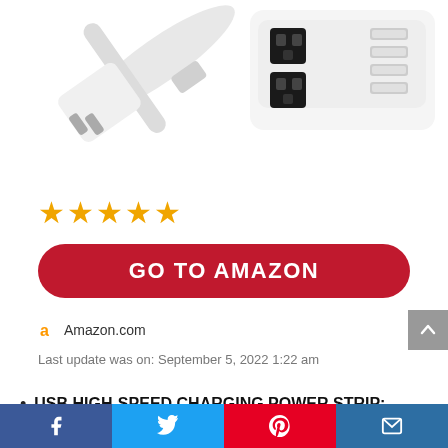[Figure (photo): Photo of a white USB power strip with multiple outlets and USB ports, with a flat plug cable.]
[Figure (other): Five gold star rating icons]
GO TO AMAZON
Amazon.com
Last update was on: September 5, 2022 1:22 am
USB HIGH-SPEED CHARGING POWER STRIP:
Facebook | Twitter | Pinterest | Email